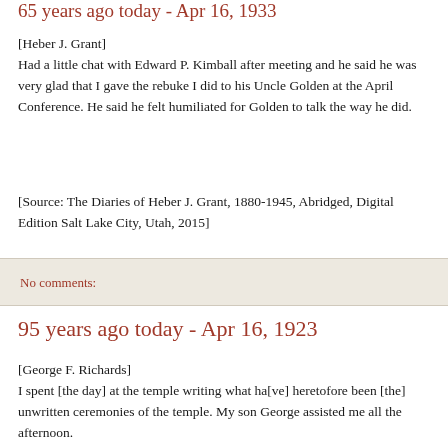85 years ago today - Apr 16, 1933
[Heber J. Grant]
Had a little chat with Edward P. Kimball after meeting and he said he was very glad that I gave the rebuke I did to his Uncle Golden at the April Conference. He said he felt humiliated for Golden to talk the way he did.
[Source: The Diaries of Heber J. Grant, 1880-1945, Abridged, Digital Edition Salt Lake City, Utah, 2015]
No comments:
95 years ago today - Apr 16, 1923
[George F. Richards]
I spent [the day] at the temple writing what ha[ve] heretofore been [the] unwritten ceremonies of the temple. My son George assisted me all the afternoon.